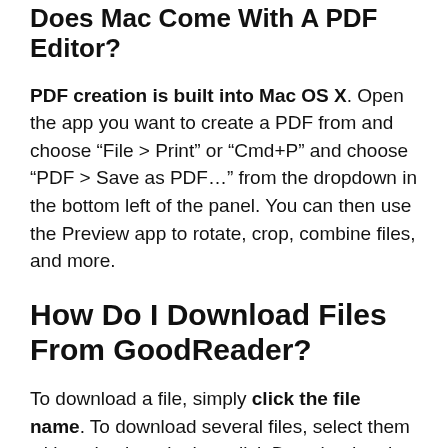Does Mac Come With A PDF Editor?
PDF creation is built into Mac OS X. Open the app you want to create a PDF from and choose “File > Print” or “Cmd+P” and choose “PDF > Save as PDF…” from the dropdown in the bottom left of the panel. You can then use the Preview app to rotate, crop, combine files, and more.
How Do I Download Files From GoodReader?
To download a file, simply click the file name. To download several files, select them with a checkmark, then click Download at the top. Downloading only works for files, not folders. If you have a complex